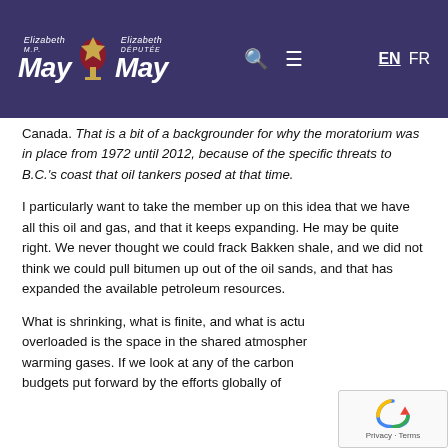Elizabeth May M.P. / Elizabeth May Députée — EN FR
Canada. That is a bit of a backgrounder for why the moratorium was in place from 1972 until 2012, because of the specific threats to B.C.'s coast that oil tankers posed at that time.
I particularly want to take the member up on this idea that we have all this oil and gas, and that it keeps expanding. He may be quite right. We never thought we could frack Bakken shale, and we did not think we could pull bitumen up out of the oil sands, and that has expanded the available petroleum resources.
What is shrinking, what is finite, and what is actually overloaded is the space in the shared atmosphere for warming gases. If we look at any of the carbon budgets put forward by the efforts globally of